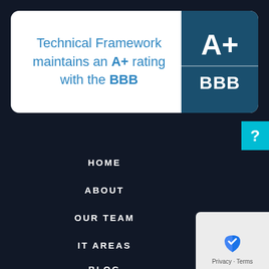[Figure (infographic): White rounded banner showing 'Technical Framework maintains an A+ rating with the BBB' with a dark teal box on the right showing 'A+' above a divider line and 'BBB' below in large white bold text.]
HOME
ABOUT
OUR TEAM
IT AREAS
BLOG
PRESS
CONTACT
PRIVACY POLICY